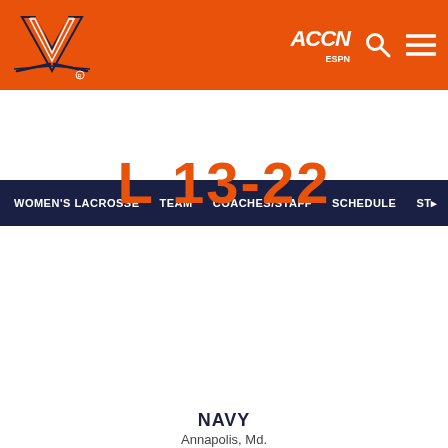[Figure (logo): University of Virginia Cavaliers logo (orange V with crossed sabers) on orange header bar, with ACCN ESPN logo and navigation icons]
WOMEN'S LACROSSE   TEAM   COACHES/STAFF   SCHEDULE   ST...
L 13-22
Box Score   Recap
WED APR 11   7:00 PM
[Figure (logo): University of Virginia Cavaliers logo (orange V with crossed sabers) at left, AT in center, Navy Midshipmen logo (gold N with star and NAVY wordmark) at right]
NAVY
Annapolis, Md.